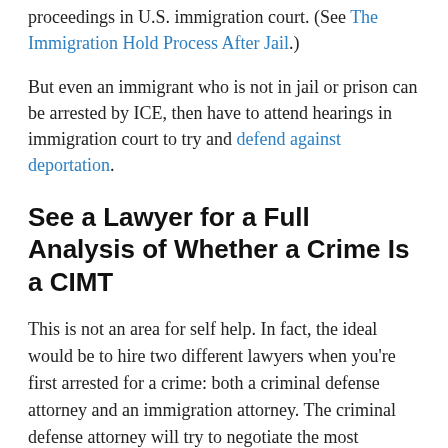proceedings in U.S. immigration court. (See The Immigration Hold Process After Jail.)
But even an immigrant who is not in jail or prison can be arrested by ICE, then have to attend hearings in immigration court to try and defend against deportation.
See a Lawyer for a Full Analysis of Whether a Crime Is a CIMT
This is not an area for self help. In fact, the ideal would be to hire two different lawyers when you're first arrested for a crime: both a criminal defense attorney and an immigration attorney. The criminal defense attorney will try to negotiate the most advantageous possible plea agreement for you (to